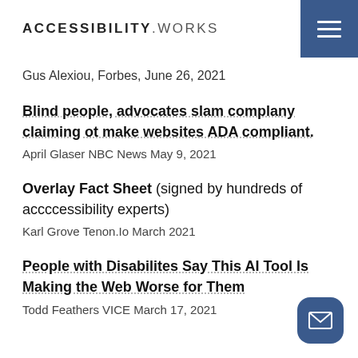ACCESSIBILITY.WORKS
Gus Alexiou, Forbes, June 26, 2021
Blind people, advocates slam complany claiming ot make websites ADA compliant.
April Glaser NBC News May 9, 2021
Overlay Fact Sheet (signed by hundreds of accccessibility experts)
Karl Grove Tenon.Io March 2021
People with Disabilites Say This AI Tool Is Making the Web Worse for Them
Todd Feathers VICE March 17, 2021